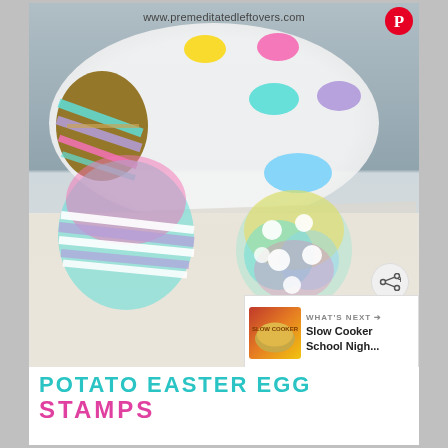[Figure (photo): Photo of Easter egg potato stamps craft: a potato carved into an egg shape with rubber band stripes, placed next to a white plate with colorful paint blobs (yellow, pink, teal, purple, light blue). In the foreground, two stamped egg prints on white paper — one with diagonal stripe pattern in pink, purple, and teal, and one with circular dot pattern in rainbow colors.]
www.premeditatedleftovers.com
POTATO EASTER EGG STAMPS